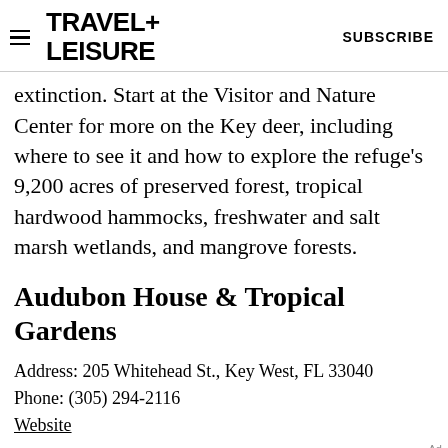TRAVEL+ LEISURE  SUBSCRIBE
extinction. Start at the Visitor and Nature Center for more on the Key deer, including where to see it and how to explore the refuge's 9,200 acres of preserved forest, tropical hardwood hammocks, freshwater and salt marsh wetlands, and mangrove forests.
Audubon House & Tropical Gardens
Address: 205 Whitehead St., Key West, FL 33040
Phone: (305) 294-2116
Website
[Figure (other): Venture X Capital One advertisement banner: 'Venture X > Capital One — For those always asking "where next"']